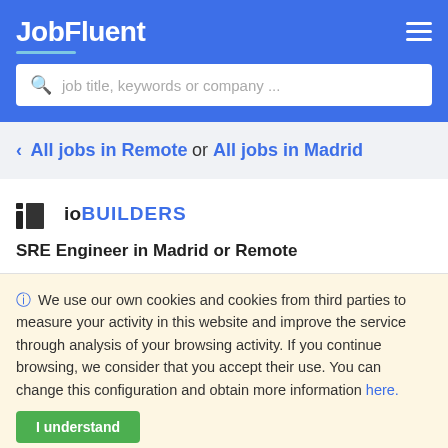JobFluent
job title, keywords or company ...
< All jobs in Remote or All jobs in Madrid
[Figure (logo): ioBUILDERS company logo]
SRE Engineer in Madrid or Remote
We use our own cookies and cookies from third parties to measure your activity in this website and improve the service through analysis of your browsing activity. If you continue browsing, we consider that you accept their use. You can change this configuration and obtain more information here.
I understand